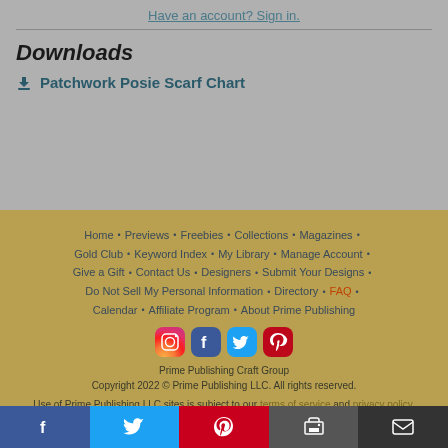Have an account? Sign in.
Downloads
Patchwork Posie Scarf Chart
Home • Previews • Freebies • Collections • Magazines • Gold Club • Keyword Index • My Library • Manage Account • Give a Gift • Contact Us • Designers • Submit Your Designs • Do Not Sell My Personal Information • Directory • FAQ • Calendar • Affiliate Program • About Prime Publishing
[Figure (infographic): Social media icons: Instagram, Facebook, Twitter, Pinterest]
Prime Publishing Craft Group
Copyright 2022 © Prime Publishing LLC. All rights reserved.
Use of Prime Publishing LLC sites is subject to our terms of service and privacy policy.
[Figure (infographic): Bottom share bar with Facebook, Twitter, Pinterest, Print, and Email icons]